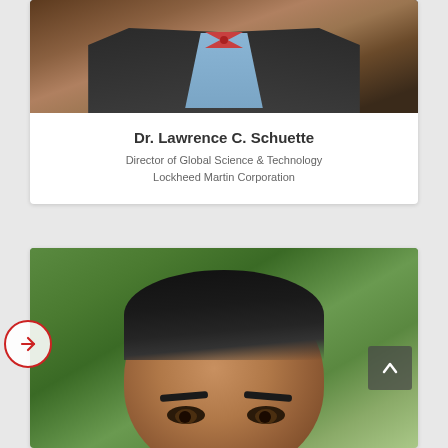[Figure (photo): Photo of Dr. Lawrence C. Schuette showing upper body with dark jacket, blue shirt, and red striped bow tie against a dark background]
Dr. Lawrence C. Schuette
Director of Global Science & Technology
Lockheed Martin Corporation
[Figure (photo): Close-up photo of a young man with dark hair against a green outdoor background, showing face and top of head]